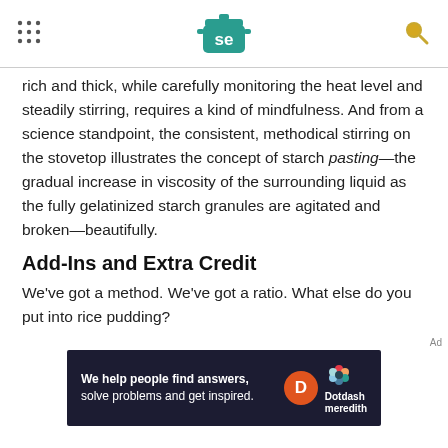Serious Eats logo header with navigation dots and search icon
rich and thick, while carefully monitoring the heat level and steadily stirring, requires a kind of mindfulness. And from a science standpoint, the consistent, methodical stirring on the stovetop illustrates the concept of starch pasting—the gradual increase in viscosity of the surrounding liquid as the fully gelatinized starch granules are agitated and broken—beautifully.
Add-Ins and Extra Credit
We've got a method. We've got a ratio. What else do you put into rice pudding?
[Figure (other): Dotdash Meredith advertisement banner: 'We help people find answers, solve problems and get inspired.' with Dotdash Meredith logo]